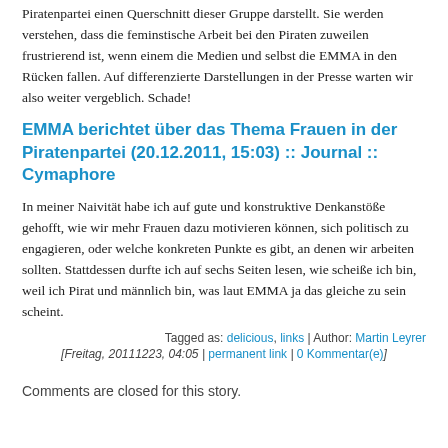Piratenpartei einen Querschnitt dieser Gruppe darstellt. Sie werden verstehen, dass die feminstische Arbeit bei den Piraten zuweilen frustrierend ist, wenn einem die Medien und selbst die EMMA in den Rücken fallen. Auf differenzierte Darstellungen in der Presse warten wir also weiter vergeblich. Schade!
EMMA berichtet über das Thema Frauen in der Piratenpartei (20.12.2011, 15:03) :: Journal :: Cymaphore
In meiner Naivität habe ich auf gute und konstruktive Denkanstöße gehofft, wie wir mehr Frauen dazu motivieren können, sich politisch zu engagieren, oder welche konkreten Punkte es gibt, an denen wir arbeiten sollten. Stattdessen durfte ich auf sechs Seiten lesen, wie scheiße ich bin, weil ich Pirat und männlich bin, was laut EMMA ja das gleiche zu sein scheint.
Tagged as: delicious, links | Author: Martin Leyrer
[Freitag, 20111223, 04:05 | permanent link | 0 Kommentar(e)
Comments are closed for this story.